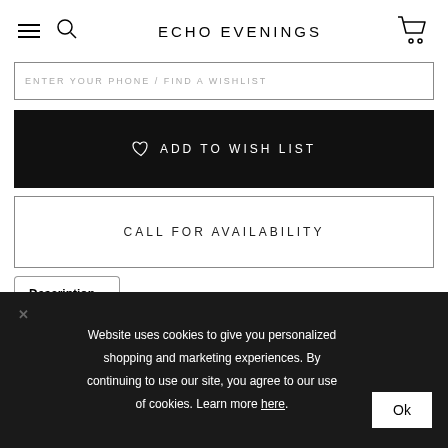ECHO EVENINGS
ENTER YOUR PHONE / FIND A WISHLIST
♡ ADD TO WISH LIST
CALL FOR AVAILABILITY
Description
Gathered Tulle & Lace Appliqued A-Line
Website uses cookies to give you personalized shopping and marketing experiences. By continuing to use our site, you agree to our use of cookies. Learn more here.